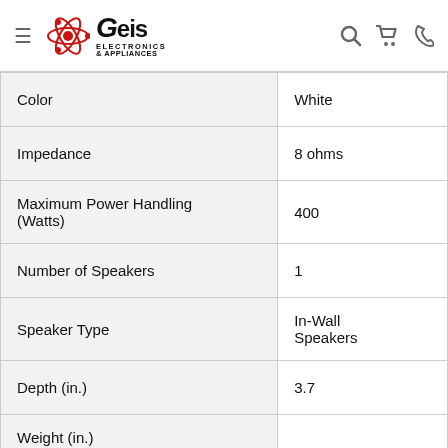Geis Electronics & Appliances
| Specification | Value |
| --- | --- |
| Color | White |
| Impedance | 8 ohms |
| Maximum Power Handling (Watts) | 400 |
| Number of Speakers | 1 |
| Speaker Type | In-Wall Speakers |
| Depth (in.) | 3.7 |
| Weight (in.) | ... |